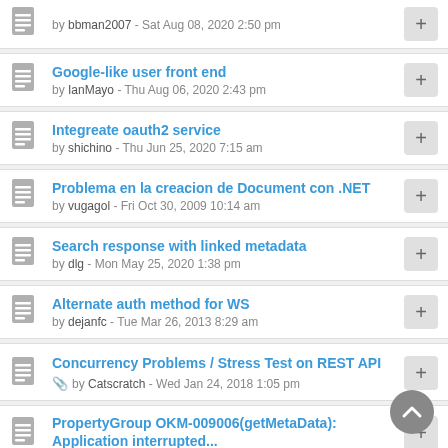by bbman2007 - Sat Aug 08, 2020 2:50 pm
Google-like user front end
by IanMayo - Thu Aug 06, 2020 2:43 pm
Integreate oauth2 service
by shichino - Thu Jun 25, 2020 7:15 am
Problema en la creacion de Document con .NET
by vugagol - Fri Oct 30, 2009 10:14 am
Search response with linked metadata
by dlg - Mon May 25, 2020 1:38 pm
Alternate auth method for WS
by dejanfc - Tue Mar 26, 2013 8:29 am
Concurrency Problems / Stress Test on REST API
by Catscratch - Wed Jan 24, 2018 1:05 pm
PropertyGroup OKM-009006(getMetaData): Application interrupted...